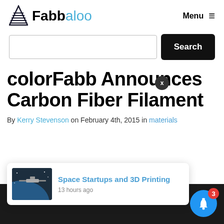Fabbaloo
Menu ≡
[Figure (screenshot): Search input field with black Search button]
colorFabb Announces Carbon Fiber Filament
By Kerry Stevenson on February 4th, 2015 in materials
[Figure (photo): Space station photo thumbnail for notification popup]
Space Startups and 3D Printing
13 hours ago